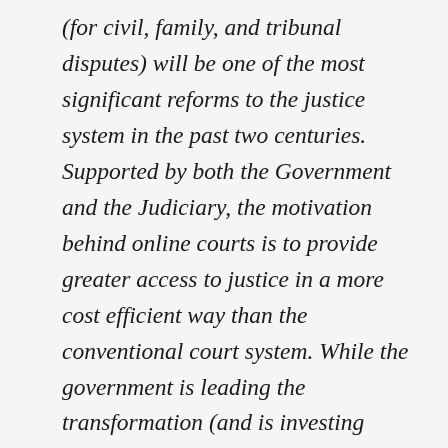(for civil, family, and tribunal disputes) will be one of the most significant reforms to the justice system in the past two centuries. Supported by both the Government and the Judiciary, the motivation behind online courts is to provide greater access to justice in a more cost efficient way than the conventional court system. While the government is leading the transformation (and is investing around £1 billion in modernising the courts), it is recognised that the design of the online courts would benefit from the input of the wider